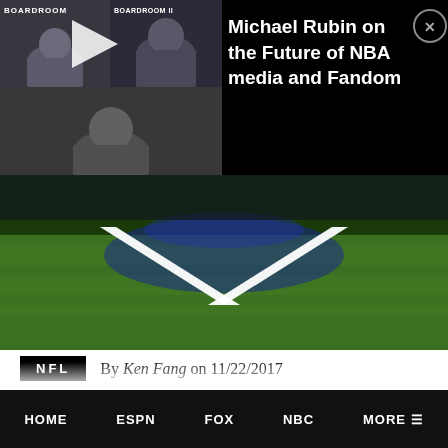[Figure (screenshot): Video thumbnail showing a Boardroom video panel with multiple people in a grid layout, with a play button overlay]
Michael Rubin on the Future of NBA media and Fandom
[Figure (photo): NFL football field showing green turf with a white chevron/V-shape yard line marking]
NFL   By Ken Fang on 11/22/2017
The National Football League continues to draw sponsors despite lower ratings and the polarizing player protests during the national anthem. Research company Standard Media Index notes that the NFL's TV partners saw an increase of 3%